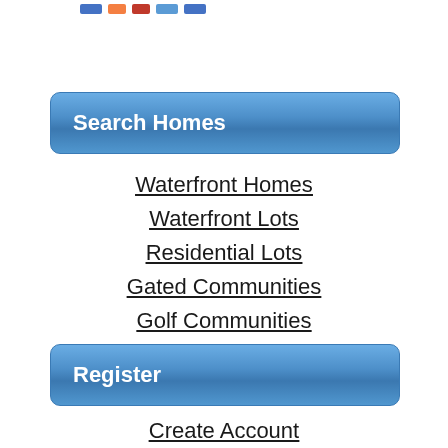Search Homes
Waterfront Homes
Waterfront Lots
Residential Lots
Gated Communities
Golf Communities
Rural Properties
Commercial Properties
Register
Create Account